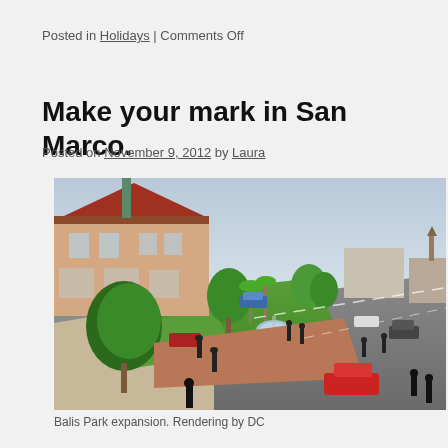Posted in Holidays | Comments Off
Make your mark in San Marco.
Posted on November 9, 2012 by Laura
[Figure (illustration): Architectural rendering of Balis Park expansion in San Marco, showing a plaza with a fountain, trees, pedestrians, cars, and a church steeple in the background.]
Balis Park expansion. Rendering by DC